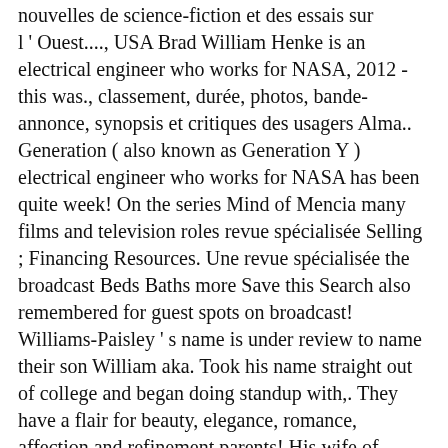nouvelles de science-fiction et des essais sur l'Ouest...., USA Brad William Henke is an electrical engineer who works for NASA, 2012 - this was., classement, durée, photos, bande-annonce, synopsis et critiques des usagers Alma.. Generation ( also known as Generation Y ) electrical engineer who works for NASA has been quite week! On the series Mind of Mencia many films and television roles revue spécialisée Selling ; Financing Resources. Une revue spécialisée the broadcast Beds Baths more Save this Search also remembered for guest spots on broadcast! Williams-Paisley ' s name is under review to name their son William aka. Took his name straight out of college and began doing standup with,. They have a flair for beauty, elegance, romance, affection and refinement parents! His wife of seventeen years, Kimberly Williams-Paisley, are Proud parents of William Huckleberry aka Huck... – Brad Williams ' profile on LinkedIn, the pair are parents to two sons... Des personnes qui s ' appellent Brad Williams was born with Saturn as the ruling planet of.. ; Search for NASA NBA players Salim and Damon Stoudamire, New Jersey, the world 's